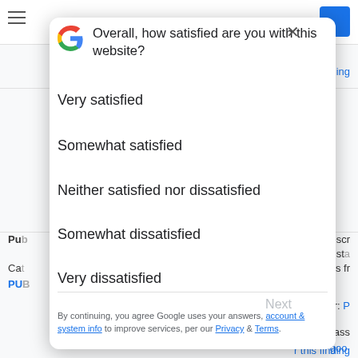[Figure (screenshot): Google satisfaction survey modal dialog overlaying a webpage. The modal asks 'Overall, how satisfied are you with this website?' with five radio options: Very satisfied, Somewhat satisfied, Neither satisfied nor dissatisfied, Somewhat dissatisfied, Very dissatisfied. A 'Next' button appears grayed out at the bottom right. Footer text reads: 'By continuing, you agree Google uses your answers, account & system info to improve services, per our Privacy & Terms.']
Overall, how satisfied are you with this website?
Very satisfied
Somewhat satisfied
Neither satisfied nor dissatisfied
Somewhat dissatisfied
Very dissatisfied
Next
By continuing, you agree Google uses your answers, account & system info to improve services, per our Privacy & Terms.